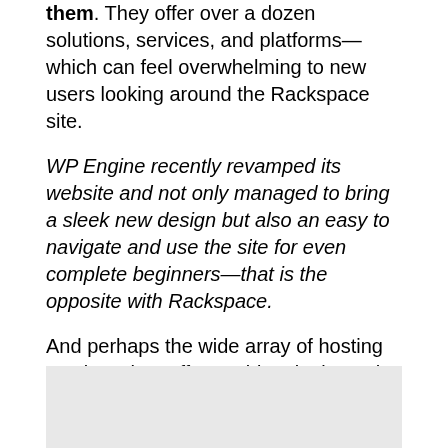them. They offer over a dozen solutions, services, and platforms—which can feel overwhelming to new users looking around the Rackspace site.
WP Engine recently revamped its website and not only managed to bring a sleek new design but also an easy to navigate and use the site for even complete beginners—that is the opposite with Rackspace.
And perhaps the wide array of hosting services they offer could make it tough for Rackspace hosting to create a more intuitive and easy to follow homepage and entire site.
[Figure (other): Gray rectangle placeholder image at the bottom of the page]